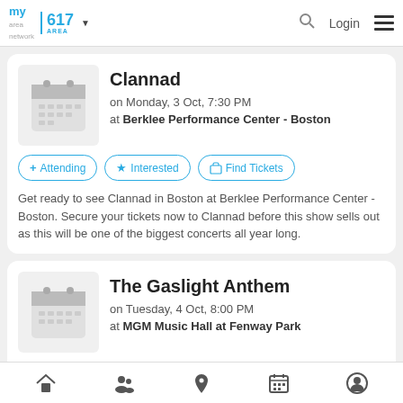my area network | 617 AREA | Login
Clannad
on Monday, 3 Oct, 7:30 PM
at Berklee Performance Center - Boston
+ Attending
★ Interested
🎟 Find Tickets
Get ready to see Clannad in Boston at Berklee Performance Center - Boston. Secure your tickets now to Clannad before this show sells out as this will be one of the biggest concerts all year long.
The Gaslight Anthem
on Tuesday, 4 Oct, 8:00 PM
at MGM Music Hall at Fenway Park
Home | People | Location | Calendar | Profile